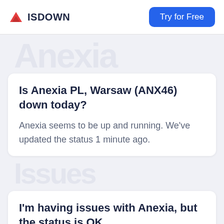ISDOWN | Try for Free
Is Anexia PL, Warsaw (ANX46) down today?
Anexia seems to be up and running. We've updated the status 1 minute ago.
I'm having issues with Anexia, but the status is OK.